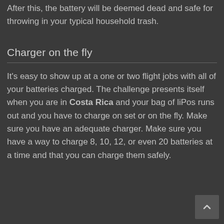After this, the battery will be deemed dead and safe for throwing in your typical household trash.
Charger on the fly
It's easy to show up at a one or two flight jobs with all of your batteries charged. The challenge presents itself when you are in Costa Rica and your bag of liPos runs out and you have to charge on set or on the fly. Make sure you have an adequate charger. Make sure you have a way to charge 8, 10, 12, or even 20 batteries at a time and that you can charge them safely.